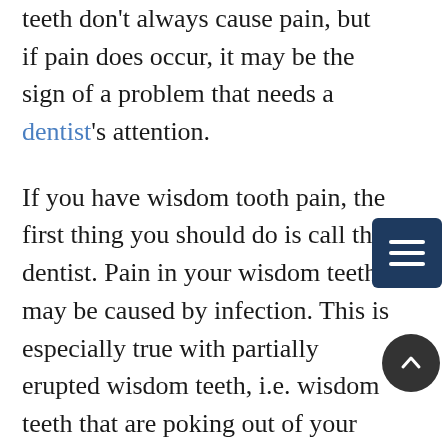neighboring teeth. Impacted teeth don't always cause pain, but if pain does occur, it may be the sign of a problem that needs a dentist's attention.
If you have wisdom tooth pain, the first thing you should do is call the dentist. Pain in your wisdom teeth may be caused by infection. This is especially true with partially erupted wisdom teeth, i.e. wisdom teeth that are poking out of your gums part of